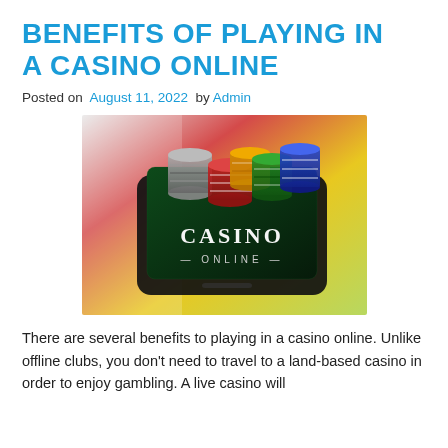BENEFITS OF PLAYING IN A CASINO ONLINE
Posted on  August 11, 2022  by Admin
[Figure (photo): A smartphone displaying 'CASINO ONLINE' on screen with stacks of colorful casino chips (black/silver, red/white, green, blue/silver, gold) on top of it, against a blurred colorful background with red and yellow tones.]
There are several benefits to playing in a casino online. Unlike offline clubs, you don't need to travel to a land-based casino in order to enjoy gambling. A live casino will